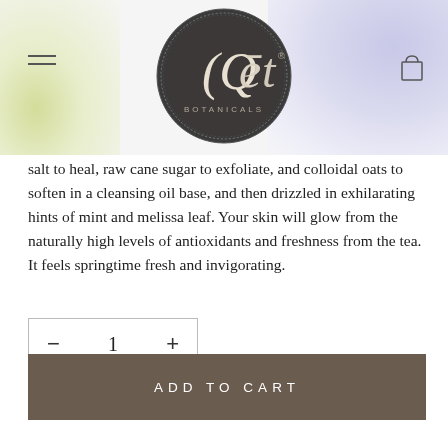[Figure (logo): Qet Botanicals circular logo on dark background with decorative border, white text reading Qet BOTANICALS]
salt to heal, raw cane sugar to exfoliate, and colloidal oats to soften in a cleansing oil base, and then drizzled in exhilarating hints of mint and melissa leaf. Your skin will glow from the naturally high levels of antioxidants and freshness from the tea. It feels springtime fresh and invigorating.
— 1 +
ADD TO CART